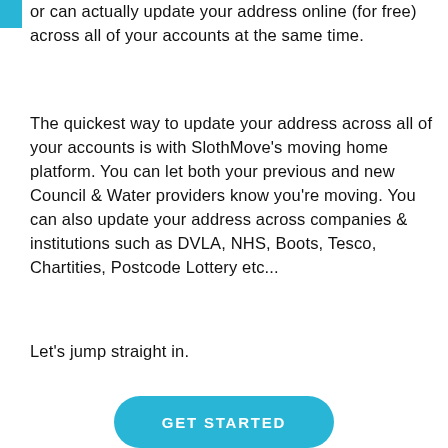or can actually update your address online (for free) across all of your accounts at the same time.
The quickest way to update your address across all of your accounts is with SlothMove's moving home platform. You can let both your previous and new Council & Water providers know you're moving. You can also update your address across companies & institutions such as DVLA, NHS, Boots, Tesco, Chartities, Postcode Lottery etc...
Let's jump straight in.
GET STARTED